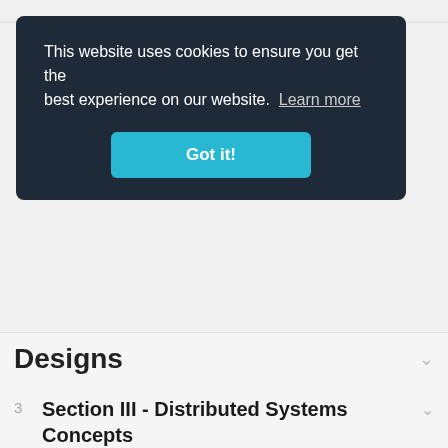This website uses cookies to ensure you get the best experience on our website. Learn more
Got it!
Designs
3  Section III - Distributed Systems Concepts
4  Section IV - System Design Mock Interviews (Bonus Section)
5  Section V - Appendix